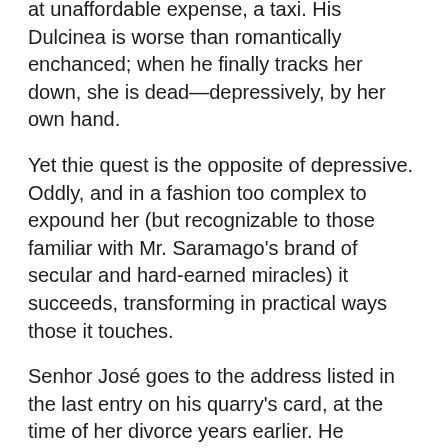at unaffordable expense, a taxi. His Dulcinea is worse than romantically enchanced; when he finally tracks her down, she is dead—depressively, by her own hand.
Yet thie quest is the opposite of depressive. Oddly, and in a fashion too complex to expound her (but recognizable to those familiar with Mr. Saramago's brand of secular and hard-earned miracles) it succeeds, transforming in practical ways those it touches.
Senhor José goes to the address listed in the last entry on his quarry's card, at the time of her divorce years earlier. He questions an old neighbor who had known her from hildhood. Lives spill out: the neighbor had carried on an affair with the woman's father. She gives him the location of the school the woman attended as a girl.
The search grows mythical while remaining entirely down-to-earth and modestly absurd. Senhor José buys lard, a towel and a glass cutter. At night, in pouring rain, he uses them to cut ahole in a window and break into the school. He spends a miserable, soggy night and day—it is the weekend— searching for her file, blah blah himself to the next stage of